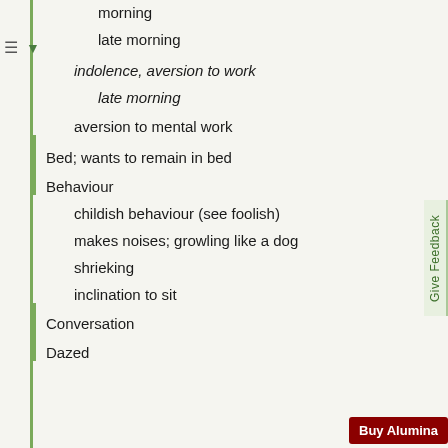morning
late morning
indolence, aversion to work
late morning
aversion to mental work
Bed; wants to remain in bed
Behaviour
childish behaviour (see foolish)
makes noises; growling like a dog
shrieking
inclination to sit
Conversation
Dazed